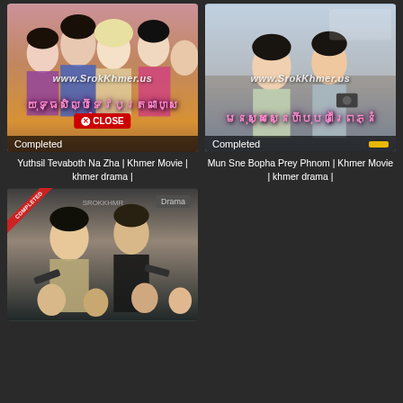[Figure (screenshot): Movie thumbnail for Yuthsil Tevaboth Na Zha with Completed badge and CLOSE button overlay]
[Figure (screenshot): Movie thumbnail for Mun Sne Bopha Prey Phnom with Completed badge]
Yuthsil Tevaboth Na Zha | Khmer Movie | khmer drama |
Mun Sne Bopha Prey Phnom | Khmer Movie | khmer drama |
[Figure (screenshot): Movie thumbnail with Drama badge and COMPLETED ribbon overlay]